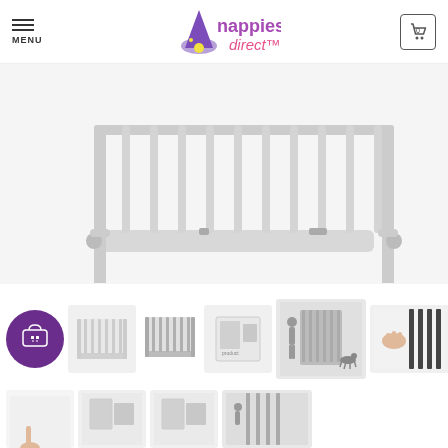[Figure (screenshot): Nappies Direct website header with hamburger menu, logo, and shopping cart]
[Figure (photo): White metal baby safety gate product photo, main view showing horizontal bars and mounting hardware]
[Figure (photo): Row of product thumbnail images: add to basket button, white gate front view, grey gate front view, product box, person with gate, hand on gate mechanism]
[Figure (photo): Second row of partial product thumbnails showing additional product angles]